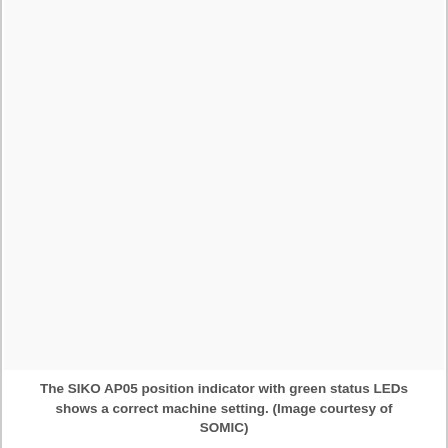[Figure (photo): Photo of SIKO AP05 position indicator with green status LEDs showing a correct machine setting. Image courtesy of SOMIC.]
The SIKO AP05 position indicator with green status LEDs shows a correct machine setting. (Image courtesy of SOMIC)